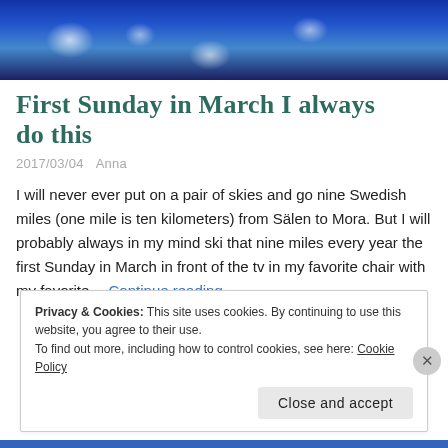[Figure (photo): Decorative art image with blue, teal, and yellow-green floral/snowflake patterns on a dark blue background]
First Sunday in March I always do this
2017/03/04   Anna
I will never ever put on a pair of skies and go nine Swedish miles (one mile is ten kilometers) from Sälen to Mora. But I will probably always in my mind ski that nine miles every year the first Sunday in March in front of the tv in my favorite chair with my favorite... Continue reading
Privacy & Cookies: This site uses cookies. By continuing to use this website, you agree to their use.
To find out more, including how to control cookies, see here: Cookie Policy
Close and accept